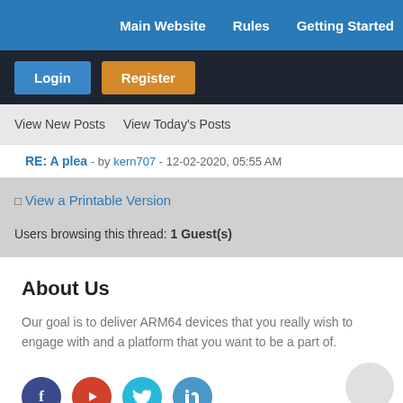Main Website   Rules   Getting Started
Login   Register
View New Posts   View Today's Posts
RE: A plea - by kern707 - 12-02-2020, 05:55 AM
View a Printable Version
Users browsing this thread: 1 Guest(s)
About Us
Our goal is to deliver ARM64 devices that you really wish to engage with and a platform that you want to be a part of.